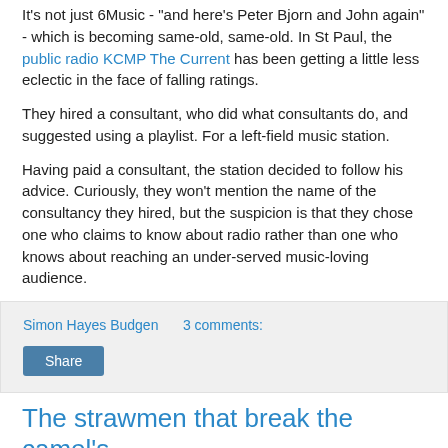It's not just 6Music - "and here's Peter Bjorn and John again" - which is becoming same-old, same-old. In St Paul, the public radio KCMP The Current has been getting a little less eclectic in the face of falling ratings.
They hired a consultant, who did what consultants do, and suggested using a playlist. For a left-field music station.
Having paid a consultant, the station decided to follow his advice. Curiously, they won't mention the name of the consultancy they hired, but the suspicion is that they chose one who claims to know about radio rather than one who knows about reaching an under-served music-loving audience.
Simon Hayes Budgen   3 comments:
Share
The strawmen that break the camel's back